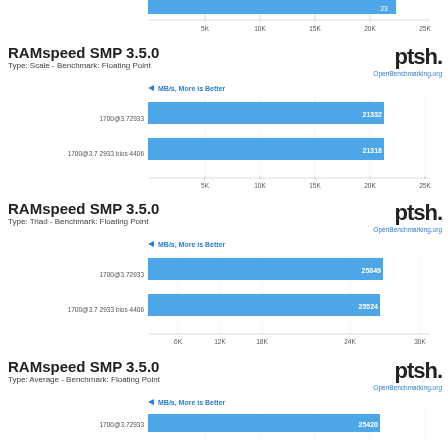[Figure (bar-chart): RAMspeed SMP 3.5.0 - Type: Scale - Benchmark: Floating Point]
[Figure (bar-chart): RAMspeed SMP 3.5.0 - Type: Triad - Benchmark: Floating Point]
[Figure (bar-chart): RAMspeed SMP 3.5.0 - Type: Average - Benchmark: Floating Point]